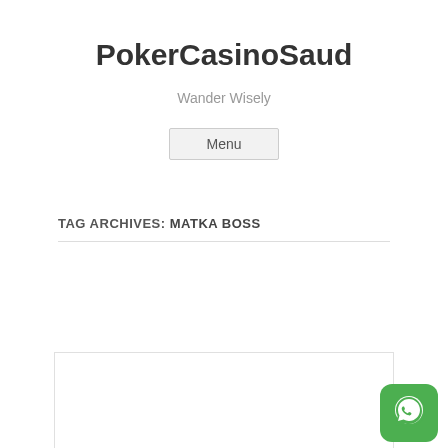PokerCasinoSaud
Wander Wisely
Menu
TAG ARCHIVES: MATKA BOSS
[Figure (other): White content card with border]
[Figure (logo): WhatsApp green icon with phone handset speech bubble logo]